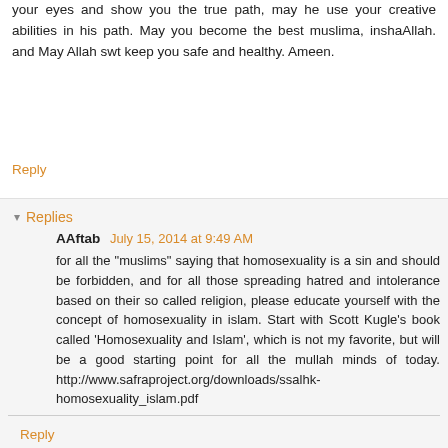your eyes and show you the true path, may he use your creative abilities in his path. May you become the best muslima, inshaAllah. and May Allah swt keep you safe and healthy. Ameen.
Reply
Replies
AAftab  July 15, 2014 at 9:49 AM
for all the "muslims" saying that homosexuality is a sin and should be forbidden, and for all those spreading hatred and intolerance based on their so called religion, please educate yourself with the concept of homosexuality in islam. Start with Scott Kugle's book called 'Homosexuality and Islam', which is not my favorite, but will be a good starting point for all the mullah minds of today. http://www.safraproject.org/downloads/ssalhk-homosexuality_islam.pdf
Reply